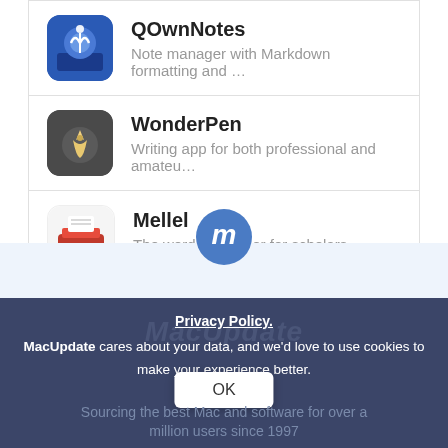QOwnNotes — Note manager with Markdown formatting and ...
WonderPen — Writing app for both professional and amateu...
Mellel — The word processor for scholars, writers, and l...
MovieWriterPro — Increase the speed of script writing.
Privacy Policy.
MacUpdate cares about your data, and we'd love to use cookies to make your experience better.
OK
Sourcing the best Mac and software for over a million users since 1997